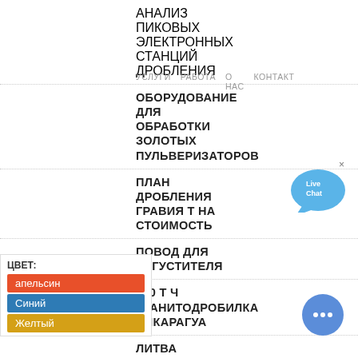АНАЛИЗ ПИКОВЫХ ЭЛЕКТРОННЫХ СТАНЦИЙ ДРОБЛЕНИЯ
УСЛУГИ  РАБОТА     О НАС  КОНТАКТ
ОБОРУДОВАНИЕ ДЛЯ ОБРАБОТКИ ЗОЛОТЫХ ПУЛЬВЕРИЗАТОРОВ
ПЛАН ДРОБЛЕНИЯ ГРАВИЯ Т НА СТОИМОСТЬ
ПОВОД ДЛЯ ЗАГУСТИТЕЛЯ
620 Т Ч ГРАНИТОДРОБИЛКА НИКАРАГУА
ЛИТВА АГРЕГАТНАЯ ДРОБИЛКА 175 Т Ч
КСПОРТИРОВАТЬ ТПРОИЗВОДИТЕЛИ В ИНДИЮ МЕЛКИЙ ЩЕБЕНЬ
РОБИЛЬНЫЕ КОМПАНИИ АККРЕДИТОВАННЫЕ DENR
МАШИНЫ ДЛЯ ОБОГАЩЕНИЯ ЮЖНАЯ АФРИКА
ПРОЦЕДУРА ДРОБИЛКИ ЛИНИИ
ЦВЕТ:
апельсин
Синий
Желтый
[Figure (other): Live Chat speech bubble widget in blue]
[Figure (other): Chat bot circle button with ellipsis dots]